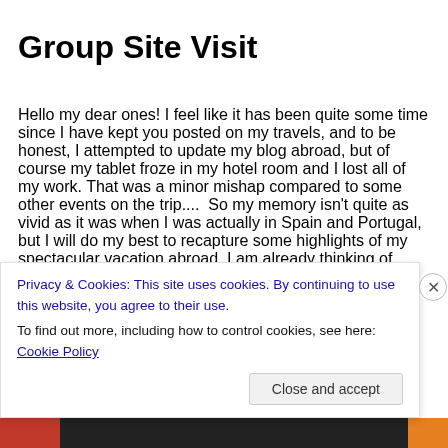Group Site Visit
Hello my dear ones! I feel like it has been quite some time since I have kept you posted on my travels, and to be honest, I attempted to update my blog abroad, but of course my tablet froze in my hotel room and I lost all of my work. That was a minor mishap compared to some other events on the trip....  So my memory isn't quite as vivid as it was when I was actually in Spain and Portugal, but I will do my best to recapture some highlights of my spectacular vacation abroad. I am already thinking of ways to get
Privacy & Cookies: This site uses cookies. By continuing to use this website, you agree to their use.
To find out more, including how to control cookies, see here: Cookie Policy